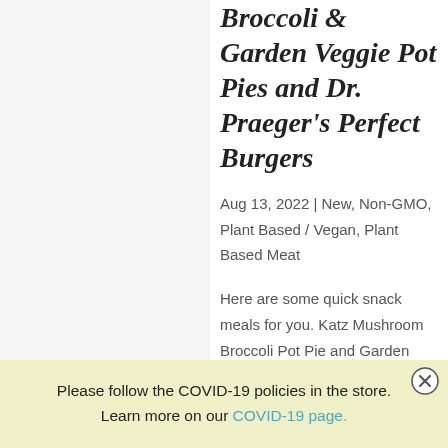Broccoli & Garden Veggie Pot Pies and Dr. Praeger's Perfect Burgers
Aug 13, 2022 | New, Non-GMO, Plant Based / Vegan, Plant Based Meat
Here are some quick snack meals for you. Katz Mushroom Broccoli Pot Pie and Garden Vegetable Pot Pie. Introducing the PERFECT BURGER — Your
Please follow the COVID-19 policies in the store. Learn more on our COVID-19 page.